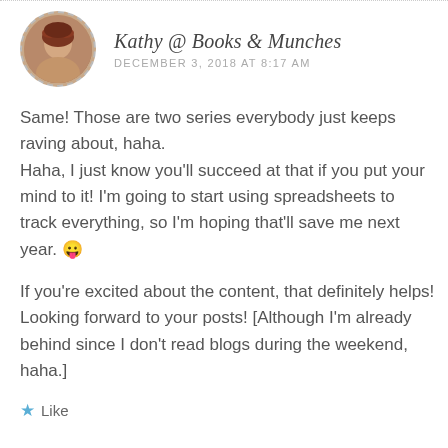[Figure (photo): Circular avatar photo of a woman with reddish hair, dashed circular border]
Kathy @ Books & Munches
DECEMBER 3, 2018 AT 8:17 AM
Same! Those are two series everybody just keeps raving about, haha.
Haha, I just know you'll succeed at that if you put your mind to it! I'm going to start using spreadsheets to track everything, so I'm hoping that'll save me next year. 😛
If you're excited about the content, that definitely helps! Looking forward to your posts! [Although I'm already behind since I don't read blogs during the weekend, haha.]
★ Like